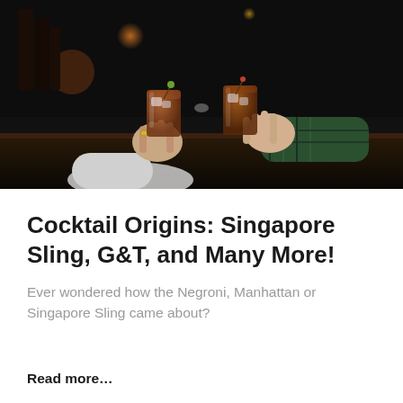[Figure (photo): Two people clinking cocktail glasses (old fashioned / whiskey drinks) across a dark bar counter. One person wearing a light grey sweater, the other in a plaid shirt. Dark bar atmosphere with bottles and bokeh lights in background.]
Cocktail Origins: Singapore Sling, G&T, and Many More!
Ever wondered how the Negroni, Manhattan or Singapore Sling came about?
Read more...